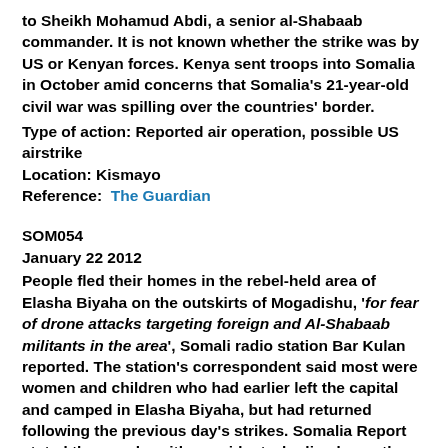to Sheikh Mohamud Abdi, a senior al-Shabaab commander. It is not known whether the strike was by US or Kenyan forces. Kenya sent troops into Somalia in October amid concerns that Somalia's 21-year-old civil war was spilling over the countries' border.
Type of action: Reported air operation, possible US airstrike
Location: Kismayo
Reference: The Guardian
SOM054
January 22 2012
People fled their homes in the rebel-held area of Elasha Biyaha on the outskirts of Mogadishu, 'for fear of drone attacks targeting foreign and Al-Shabaab militants in the area', Somali radio station Bar Kulan reported. The station's correspondent said most were women and children who had earlier left the capital and camped in Elasha Biyaha, but had returned following the previous day's strikes. Somalia Report stated they spoke with a resident who lived near the site of SOM053. 'We are scared of more strikes because Al-Shabaab fighters live